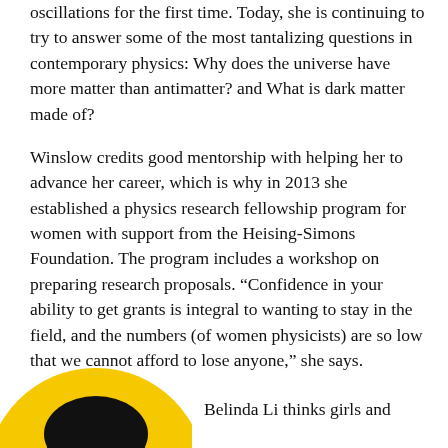oscillations for the first time. Today, she is continuing to try to answer some of the most tantalizing questions in contemporary physics: Why does the universe have more matter than antimatter? and What is dark matter made of?
Winslow credits good mentorship with helping her to advance her career, which is why in 2013 she established a physics research fellowship program for women with support from the Heising-Simons Foundation. The program includes a workshop on preparing research proposals. “Confidence in your ability to get grants is integral to wanting to stay in the field, and the numbers (of women physicists) are so low that we cannot afford to lose anyone,” she says.
Role models
[Figure (photo): Partial circular photo showing the top of a person's head with dark hair against a yellow/gold circular background, cropped at the bottom of the page.]
Belinda Li thinks girls and